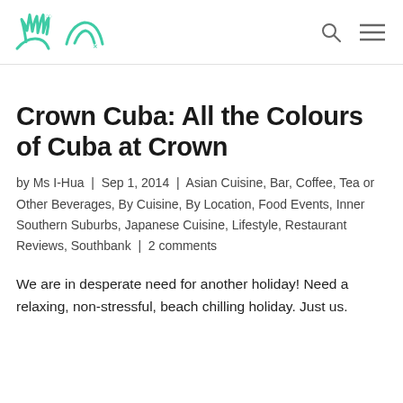[Blog logo and navigation icons]
Crown Cuba: All the Colours of Cuba at Crown
by Ms I-Hua | Sep 1, 2014 | Asian Cuisine, Bar, Coffee, Tea or Other Beverages, By Cuisine, By Location, Food Events, Inner Southern Suburbs, Japanese Cuisine, Lifestyle, Restaurant Reviews, Southbank | 2 comments
We are in desperate need for another holiday! Need a relaxing, non-stressful, beach chilling holiday. Just us.